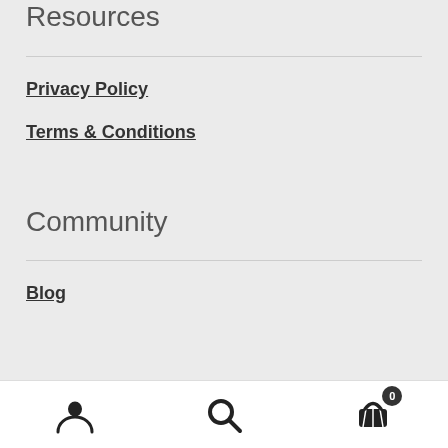Resources
Privacy Policy
Terms & Conditions
Community
Blog
User icon | Search icon | Cart icon (0)